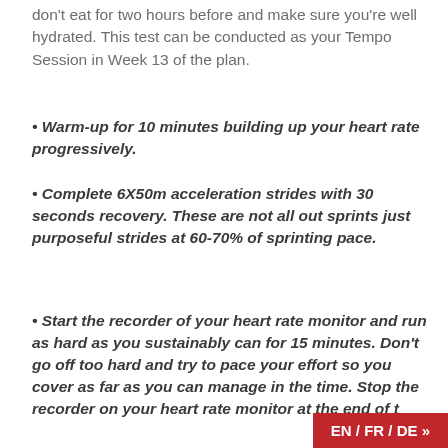don't eat for two hours before and make sure you're well hydrated. This test can be conducted as your Tempo Session in Week 13 of the plan.
Warm-up for 10 minutes building up your heart rate progressively.
Complete 6X50m acceleration strides with 30 seconds recovery. These are not all out sprints just purposeful strides at 60-70% of sprinting pace.
Start the recorder of your heart rate monitor and run as hard as you sustainably can for 15 minutes. Don't go off too hard and try to pace your effort so you cover as far as you can manage in the time. Stop the recorder on your heart rate monitor at the end of t
EN / FR / DE »